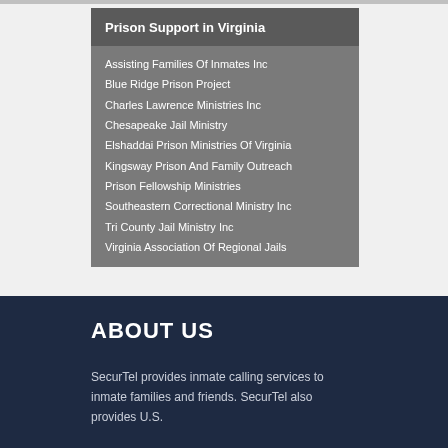Prison Support in Virginia
Assisting Families Of Inmates Inc
Blue Ridge Prison Project
Charles Lawrence Ministries Inc
Chesapeake Jail Ministry
Elshaddai Prison Ministries Of Virginia
Kingsway Prison And Family Outreach
Prison Fellowship Ministries
Southeastern Correctional Ministry Inc
Tri County Jail Ministry Inc
Virginia Association Of Regional Jails
ABOUT US
SecurTel provides inmate calling services to inmate families and friends. SecurTel also provides U.S.